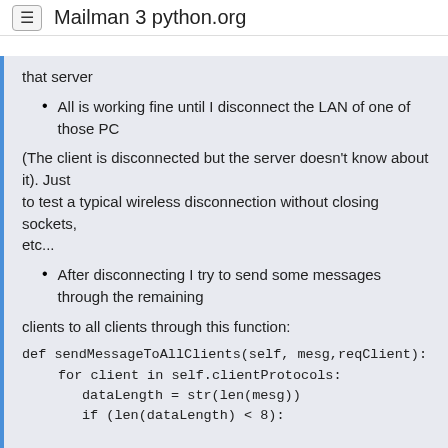Mailman 3 python.org
that server
All is working fine until I disconnect the LAN of one of those PC
(The client is disconnected but the server doesn't know about it). Just
to test a typical wireless disconnection without closing sockets,
etc...
After disconnecting I try to send some messages through the remaining
clients to all clients through this function:
def sendMessageToAllClients(self, mesg,reqClient):
    for client in self.clientProtocols:
        dataLength = str(len(mesg))
        if (len(dataLength) < 8):